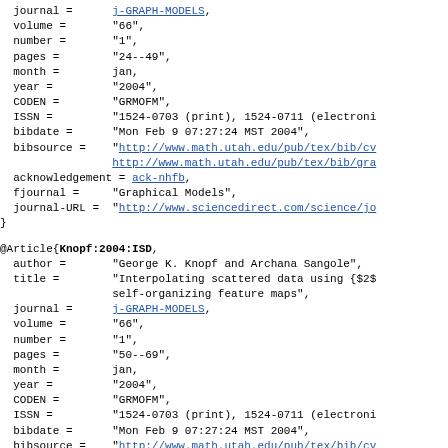journal =      j-GRAPH-MODELS,
  volume =       "66",
  number =       "1",
  pages =        "24--49",
  month =        jan,
  year =         "2004",
  CODEN =        "GRMOFM",
  ISSN =         "1524-0703 (print), 1524-0711 (electroni
  bibdate =      "Mon Feb 9 07:27:24 MST 2004",
  bibsource =    "http://www.math.utah.edu/pub/tex/bib/cv
                 http://www.math.utah.edu/pub/tex/bib/gra
  acknowledgement = ack-nhfb,
  fjournal =     "Graphical Models",
  journal-URL =  "http://www.sciencedirect.com/science/jo
}
@Article{Knopf:2004:ISD,
  author =       "George K. Knopf and Archana Sangole",
  title =        "Interpolating scattered data using {$2$}-dimensional
                 self-organizing feature maps",
  journal =      j-GRAPH-MODELS,
  volume =       "66",
  number =       "1",
  pages =        "50--69",
  month =        jan,
  year =         "2004",
  CODEN =        "GRMOFM",
  ISSN =         "1524-0703 (print), 1524-0711 (electroni
  bibdate =      "Mon Feb 9 07:27:24 MST 2004",
  bibsource =    "http://www.math.utah.edu/pub/tex/bib/cv